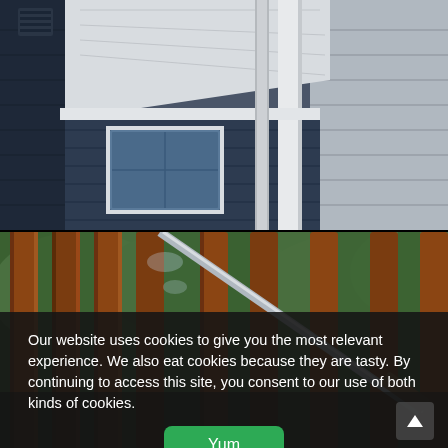[Figure (photo): Close-up of a house exterior showing navy blue and gray vinyl siding, white trim, soffit, fascia, a gutter downspout, and a window, viewed from a low angle]
[Figure (photo): Close-up of wooden deck railing balusters being cleaned or pressure-washed, with green foliage visible in the background]
Our website uses cookies to give you the most relevant experience. We also eat cookies because they are tasty. By continuing to access this site, you consent to our use of both kinds of cookies.